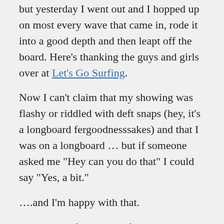but yesterday I went out and I hopped up on most every wave that came in, rode it into a good depth and then leapt off the board. Here's thanking the guys and girls over at Let's Go Surfing.
Now I can't claim that my showing was flashy or riddled with deft snaps (hey, it's a longboard fergoodnesssakes) and that I was on a longboard … but if someone asked me "Hey can you do that" I could say "Yes, a bit."
….and I'm happy with that.
During the afternoon surf I met some nice folks named Marcello and Kris. After the surf we stopped by Speedo's Cafe cafe next door and had a few